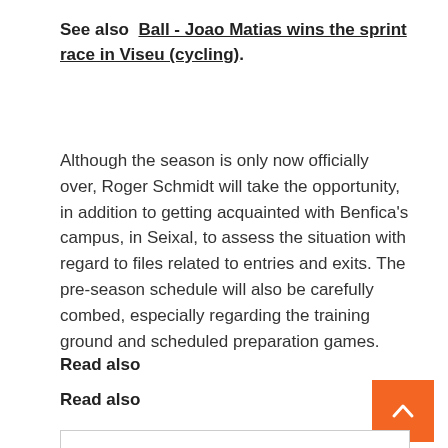See also  Ball - Joao Matias wins the sprint race in Viseu (cycling).
Although the season is only now officially over, Roger Schmidt will take the opportunity, in addition to getting acquainted with Benfica's campus, in Seixal, to assess the situation with regard to files related to entries and exits. The pre-season schedule will also be carefully combed, especially regarding the training ground and scheduled preparation games.
Read also
Read also